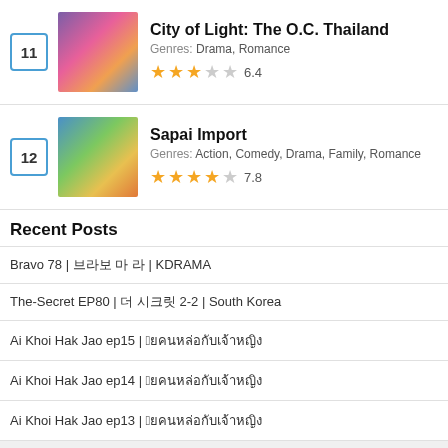11 City of Light: The O.C. Thailand Genres: Drama, Romance 6.4
12 Sapai Import Genres: Action, Comedy, Drama, Family, Romance 7.8
Recent Posts
Bravo 78 | 브라보 | 마이 라 | KDRAMA
The-Secret EP80 | 더 시크릿 2-2 | South Korea
Ai Khoi Hak Jao ep15 | อ้ายคนหล่อกับเจ้าหญิง
Ai Khoi Hak Jao ep14 | อ้ายคนหล่อกับเจ้าหญิง
Ai Khoi Hak Jao ep13 | อ้ายคนหล่อกับเจ้าหญิง